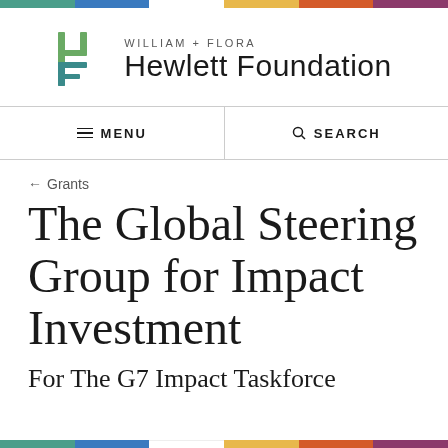[Figure (logo): William + Flora Hewlett Foundation logo with stylized H lettermark in green and teal]
≡ MENU   🔍 SEARCH
← Grants
The Global Steering Group for Impact Investment
For The G7 Impact Taskforce